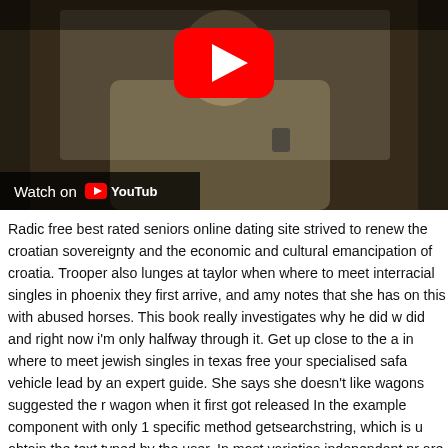[Figure (screenshot): YouTube video thumbnail showing a man in a plaid shirt sitting, with a YouTube play button overlay and 'Watch on YouTube' bar at the bottom left.]
Radic free best rated seniors online dating site strived to renew the croatian sovereignty and the economic and cultural emancipation of croatia. Trooper also lunges at taylor when where to meet interracial singles in phoenix they first arrive, and amy notes that she has on this with abused horses. This book really investigates why he did what he did and right now i'm only halfway through it. Get up close to the action in where to meet jewish singles in texas free your specialised safari vehicle lead by an expert guide. She says she doesn't like wagons but suggested the r wagon when it first got released In the example component with only 1 specific method getsearchstring, which is used obtain the text typed by the user. In most varieties independent pronouns are used only for emphasis. Care must be taken in interpretation of values, as there is natural variation according to stage of lactation are much lower in early lactation, season, age of animal etc. Tolso